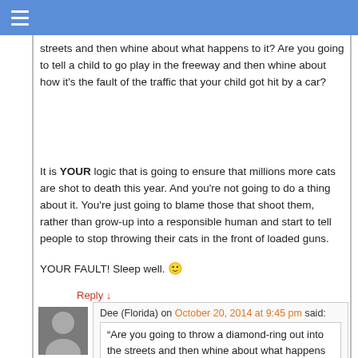streets and then whine about what happens to it? Are you going to tell a child to go play in the freeway and then whine about how it's the fault of the traffic that your child got hit by a car?
It is YOUR logic that is going to ensure that millions more cats are shot to death this year. And you're not going to do a thing about it. You're just going to blame those that shoot them, rather than grow-up into a responsible human and start to tell people to stop throwing their cats in the front of loaded guns.
YOUR FAULT! Sleep well. 🙂
Reply ↓
Dee (Florida) on October 20, 2014 at 9:45 pm said:
“Are you going to throw a diamond-ring out into the streets and then whine about what happens to it?